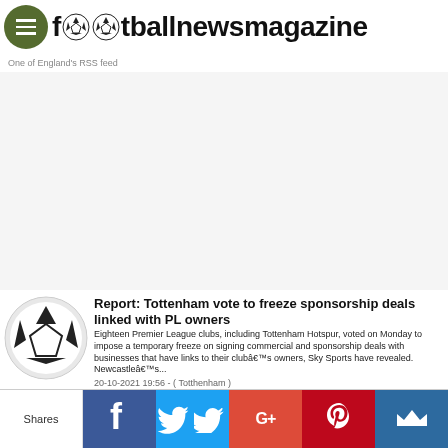footballnewsmagazine
One of England's RSS feed
[Figure (other): Large advertisement/blank area in the center of the page]
Report: Tottenham vote to freeze sponsorship deals linked with PL owners
Eighteen Premier League clubs, including Tottenham Hotspur, voted on Monday to impose a temporary freeze on signing commercial and sponsorship deals with businesses that have links to their clubâ€™s owners, Sky Sports have revealed. Newcastleâ€™s...
20-10-2021 19:56 - ( Totthenham )
Shares